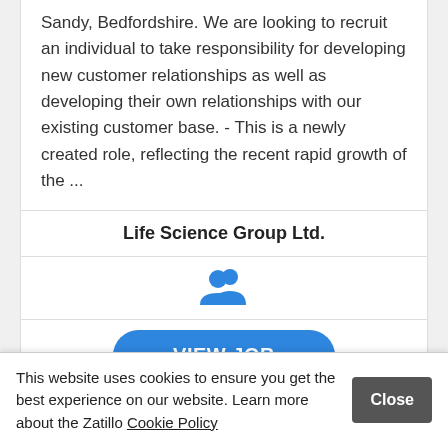Sandy, Bedfordshire. We are looking to recruit an individual to take responsibility for developing new customer relationships as well as developing their own relationships with our existing customer base. - This is a newly created role, reflecting the recent rapid growth of the ...
Life Science Group Ltd.
[Figure (illustration): People/group icon in blue]
[Figure (other): VIEW JOB button in blue rounded rectangle]
Technical Sales Specialist
This website uses cookies to ensure you get the best experience on our website. Learn more about the Zatillo Cookie Policy